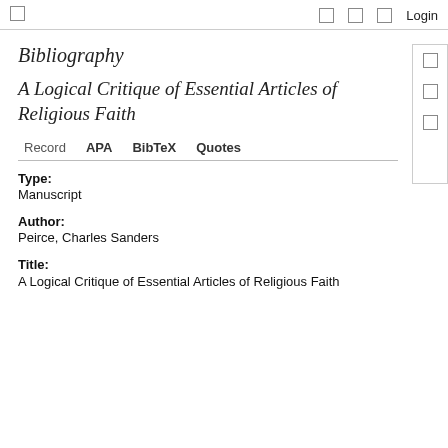☐  ☐  ☐  ☐  Login
Bibliography
A Logical Critique of Essential Articles of Religious Faith
Record  APA  BibTeX  Quotes
Type:
Manuscript
Author:
Peirce, Charles Sanders
Title:
A Logical Critique of Essential Articles of Religious Faith